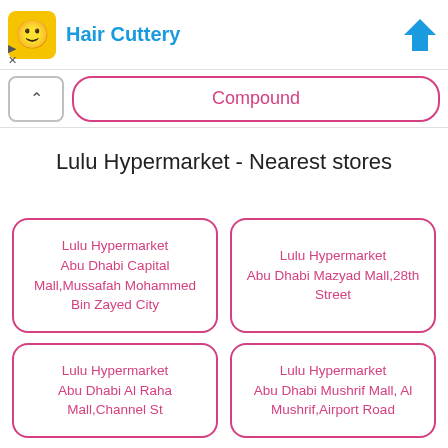[Figure (screenshot): Ad banner with Hair Cuttery logo (yellow square with face emoji), blue text 'Hair Cuttery', and a blue heart/location icon on the right. Navigation arrows on the left side below.]
Compound
Lulu Hypermarket - Nearest stores
Lulu Hypermarket Abu Dhabi Capital Mall,Mussafah Mohammed Bin Zayed City
Lulu Hypermarket Abu Dhabi Mazyad Mall,28th Street
Lulu Hypermarket Abu Dhabi Al Raha Mall,Channel St
Lulu Hypermarket Abu Dhabi Mushrif Mall, Al Mushrif,Airport Road